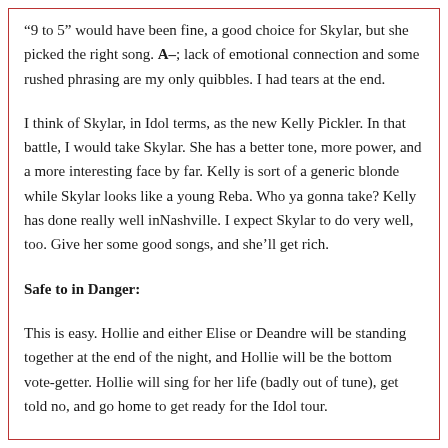“9 to 5” would have been fine, a good choice for Skylar, but she picked the right song. A–; lack of emotional connection and some rushed phrasing are my only quibbles. I had tears at the end.
I think of Skylar, in Idol terms, as the new Kelly Pickler. In that battle, I would take Skylar. She has a better tone, more power, and a more interesting face by far. Kelly is sort of a generic blonde while Skylar looks like a young Reba. Who ya gonna take? Kelly has done really well inNashville. I expect Skylar to do very well, too. Give her some good songs, and she’ll get rich.
Safe to in Danger:
This is easy. Hollie and either Elise or Deandre will be standing together at the end of the night, and Hollie will be the bottom vote-getter. Hollie will sing for her life (badly out of tune), get told no, and go home to get ready for the Idol tour.